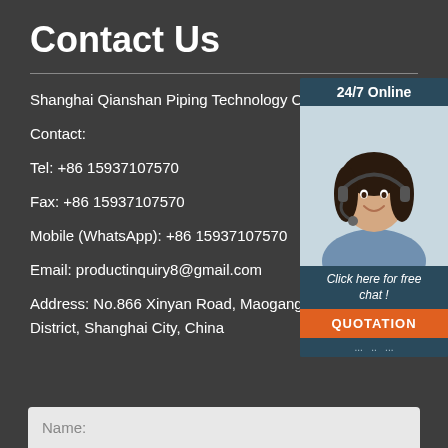Contact Us
Shanghai Qianshan Piping Technology Co., L...
Contact:
Tel: +86 15937107570
Fax: +86 15937107570
Mobile (WhatsApp): +86 15937107570
Email: productinquiry8@gmail.com
Address: No.866 Xinyan Road, Maogang Town, Songjiang District, Shanghai City, China
[Figure (photo): Customer service representative with headset, 24/7 Online chat widget with QUOTATION button]
Name: